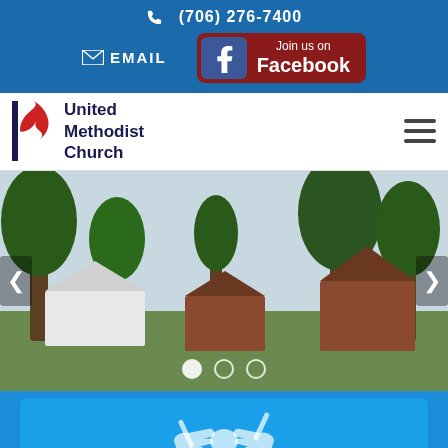(706) 276-7400
EMAIL
Join us on Facebook
[Figure (screenshot): United Methodist Church navigation bar with logo and hamburger menu]
[Figure (photo): Outdoor photo of a church building with trees and green lawn, with slider navigation arrows and dot indicators]
[Figure (illustration): Light blue card with handshake icon on blue background]